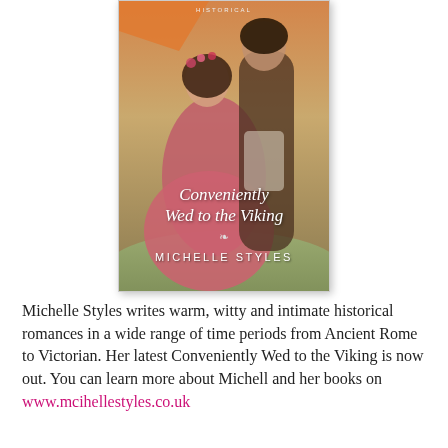[Figure (illustration): Book cover of 'Conveniently Wed to the Viking' by Michelle Styles, showing a woman in a pink dress with flowers in her hair and a man behind her, with a landscape background. The word HISTORICAL appears at the top.]
Michelle Styles writes warm, witty and intimate historical romances in a wide range of time periods from Ancient Rome to Victorian. Her latest Conveniently Wed to the Viking is now out. You can learn more about Michell and her books on www.mcihellestyles.co.uk